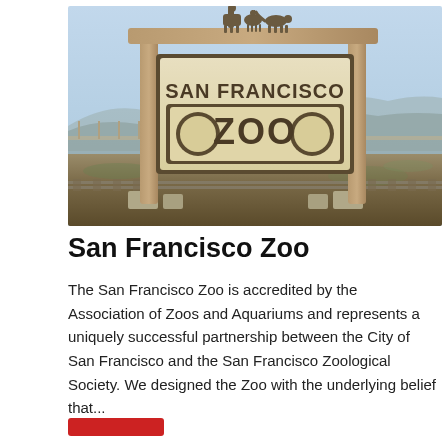[Figure (photo): Outdoor photograph of the San Francisco Zoo entrance sign — a large wooden post-and-beam structure with metal animal silhouettes (giraffe, antelope, big cat) on top. The sign board reads 'SAN FRANCISCO' above and 'ZOO' in large letters on a tan/cream background with dark oval accents. Background shows a partly cloudy blue sky and flat landscape with distant hills.]
San Francisco Zoo
The San Francisco Zoo is accredited by the Association of Zoos and Aquariums and represents a uniquely successful partnership between the City of San Francisco and the San Francisco Zoological Society. We designed the Zoo with the underlying belief that...